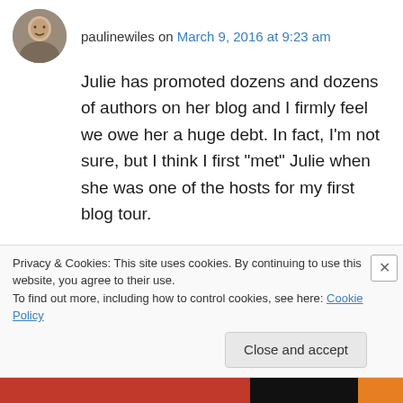paulinewiles on March 9, 2016 at 9:23 am
Julie has promoted dozens and dozens of authors on her blog and I firmly feel we owe her a huge debt. In fact, I'm not sure, but I think I first “met” Julie when she was one of the hosts for my first blog tour.
She was too polite to say this, but it’s worth mentioning that if a blogger declines to read your book, don’t push it! I’m not a book blogger but I was recently contacted by someone requesting a
Privacy & Cookies: This site uses cookies. By continuing to use this website, you agree to their use.
To find out more, including how to control cookies, see here: Cookie Policy
Close and accept